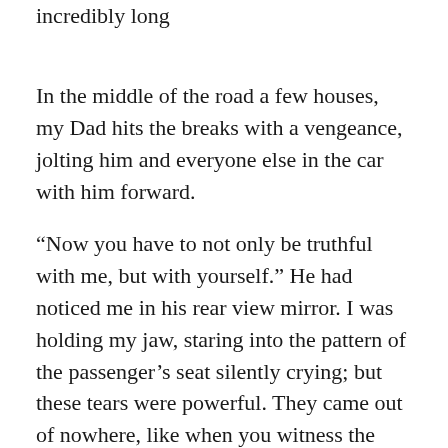incredibly long
In the middle of the road a few houses, my Dad hits the breaks with a vengeance, jolting him and everyone else in the car with him forward.
“Now you have to not only be truthful with me, but with yourself.” He had noticed me in his rear view mirror. I was holding my jaw, staring into the pattern of the passenger’s seat silently crying; but these tears were powerful. They came out of nowhere, like when you witness the first kiss at a wedding. They are unexpected, but significant. These tears had meaning. These tears